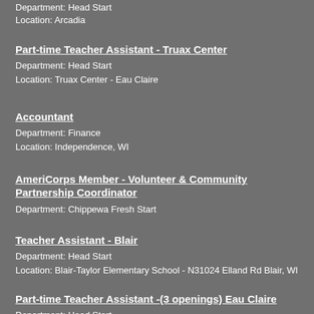Department: Head Start
Location: Arcadia
Part-time Teacher Assistant - Truax Center
Department: Head Start
Location: Truax Center - Eau Claire
Accountant
Department: Finance
Location: Independence, WI
AmeriCorps Member - Volunteer & Community Partnership Coordinator
Department: Chippewa Fresh Start
Teacher Assistant - Blair
Department: Head Start
Location: Blair-Taylor Elementary School - N31024 Elland Rd Blair, WI
Part-time Teacher Assistant -(3 openings) Eau Claire
Department: Head Start
Location: Eau Claire, WI